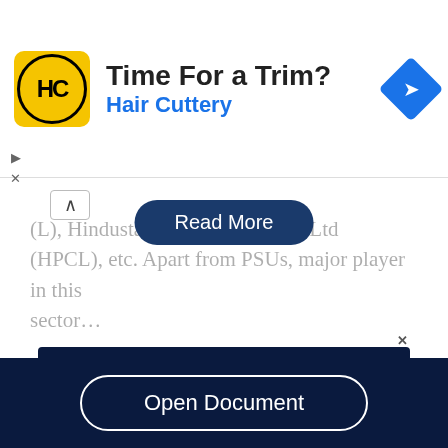[Figure (illustration): Hair Cuttery advertisement banner with logo, tagline 'Time For a Trim?', brand name 'Hair Cuttery', and navigation icon]
(L), Hindustan ... Corporation Ltd (HPCL), etc. Apart from PSUs, major player in this sector...
[Figure (illustration): Streaming advertisement with dark navy background reading 'THE ULTIMATE STREAMING TRIO' in blue and white text]
Open Document